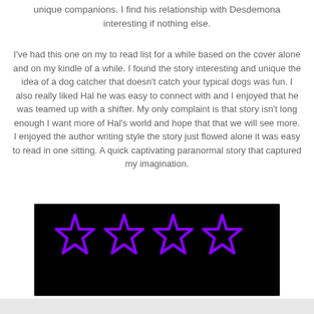unique companions. I find his relationship with Desdemona interesting if nothing else.
I've had this one on my to read list for a while based on the cover alone and on my kindle of a while. I found the story interesting and unique the idea of a dog catcher that doesn't catch your typical dogs was fun. I also really liked Hal he was easy to connect with and I enjoyed that he was teamed up with a shifter. My only complaint is that story isn't long enough I want more of Hal's world and hope that that we will see more. I enjoyed the author writing style the story just flowed alone it was easy to read in one sitting. A quick captivating paranormal story that captured my imagination.
[Figure (other): Four purple outline stars on a black background representing a 4-star rating]